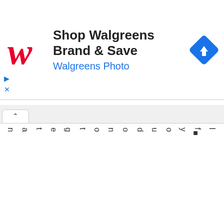[Figure (illustration): Walgreens advertisement banner with red cursive W logo, text 'Shop Walgreens Brand & Save' and 'Walgreens Photo' in blue, and a blue diamond navigation icon on the right]
If you do not get any r...